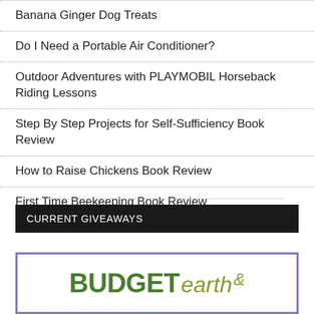Banana Ginger Dog Treats
Do I Need a Portable Air Conditioner?
Outdoor Adventures with PLAYMOBIL Horseback Riding Lessons
Step By Step Projects for Self-Sufficiency Book Review
How to Raise Chickens Book Review
First Time Beekeeping Book Review
CURRENT GIVEAWAYS
[Figure (logo): Budget Earth logo with green bold BUDGET text and olive italic earth text with a leaf/plant symbol]